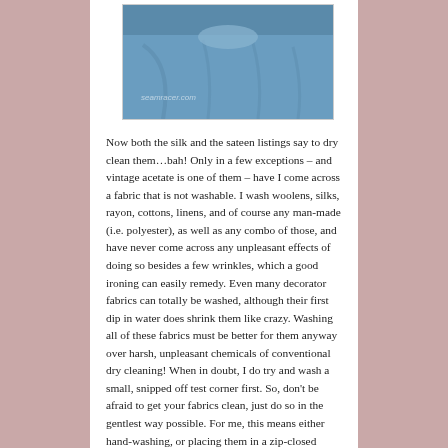[Figure (photo): A photo of a person wearing a blue shirt or jacket, with watermark text 'seamracer.com' in the lower left of the image.]
Now both the silk and the sateen listings say to dry clean them…bah!  Only in a few exceptions – and vintage acetate is one of them – have I come across a fabric that is not washable.  I wash woolens, silks, rayon, cottons, linens, and of course any man-made (i.e. polyester), as well as any combo of those, and have never come across any unpleasant effects of doing so besides a few wrinkles, which a good ironing can easily remedy.  Even many decorator fabrics can totally be washed, although their first dip in water does shrink them like crazy.  Washing all of these fabrics must be better for them anyway over harsh, unpleasant chemicals of conventional dry cleaning!  When in doubt, I do try and wash a small, snipped off test corner first.  So, don't be afraid to get your fabrics clean, just do so in the gentlest way possible.  For me, this means either hand-washing, or placing them in a zip-closed laundry bag before machine washing on the